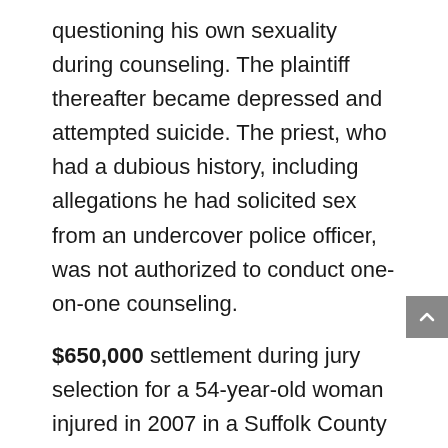questioning his own sexuality during counseling. The plaintiff thereafter became depressed and attempted suicide. The priest, who had a dubious history, including allegations he had solicited sex from an undercover police officer, was not authorized to conduct one-on-one counseling.
$650,000 settlement during jury selection for a 54-year-old woman injured in 2007 in a Suffolk County residential neighborhood, when a drunk 20-year-old woman ran a stop sign and crashed into the victim's driver's side door at 25 mph, sending the plaintiff's car onto a private home's lawn. The young defendant was charged with operating a vehicle under the influence of alcohol, to which she pled guilty. The impact resulted in the plaintiff aggravating an 8-year-